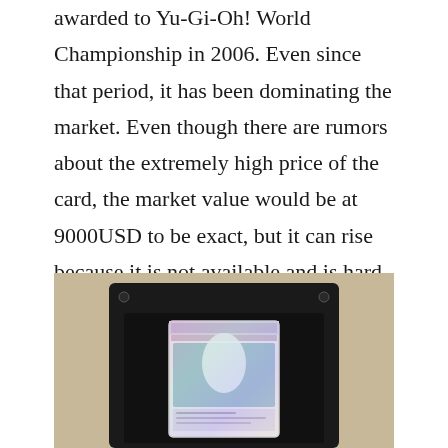awarded to Yu-Gi-Oh! World Championship in 2006. Even since that period, it has been dominating the market. Even though there are rumors about the extremely high price of the card, the market value would be at 9000USD to be exact, but it can rise because it is not available and is hard to find.
[Figure (photo): A Yu-Gi-Oh trading card displayed in a black protective case/stand on a beige surface. The card appears to be a rare holographic card in a clear plastic sleeve inside a black frame.]